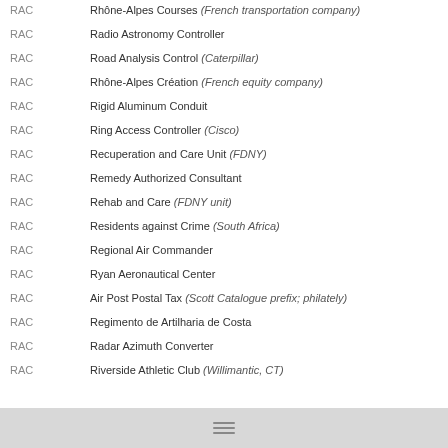RAC — Rhône-Alpes Courses (French transportation company)
RAC — Radio Astronomy Controller
RAC — Road Analysis Control (Caterpillar)
RAC — Rhône-Alpes Création (French equity company)
RAC — Rigid Aluminum Conduit
RAC — Ring Access Controller (Cisco)
RAC — Recuperation and Care Unit (FDNY)
RAC — Remedy Authorized Consultant
RAC — Rehab and Care (FDNY unit)
RAC — Residents against Crime (South Africa)
RAC — Regional Air Commander
RAC — Ryan Aeronautical Center
RAC — Air Post Postal Tax (Scott Catalogue prefix; philately)
RAC — Regimento de Artilharia de Costa
RAC — Radar Azimuth Converter
RAC — Riverside Athletic Club (Willimantic, CT)